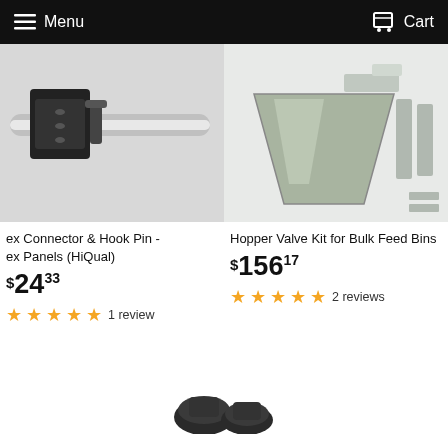Menu  Cart
[Figure (photo): Product photo of Flex Connector and Hook Pin for Flex Panels (HiQual) — showing black metal connector hardware on a chrome rail]
[Figure (photo): Product photo of Hopper Valve Kit for Bulk Feed Bins — showing metal sheet chute/slide kit components]
ex Connector & Hook Pin - ex Panels (HiQual)
$24.33
1 review
Hopper Valve Kit for Bulk Feed Bins
$156.17
2 reviews
[Figure (photo): Partial product photo visible at bottom center — showing black rubber/plastic parts]